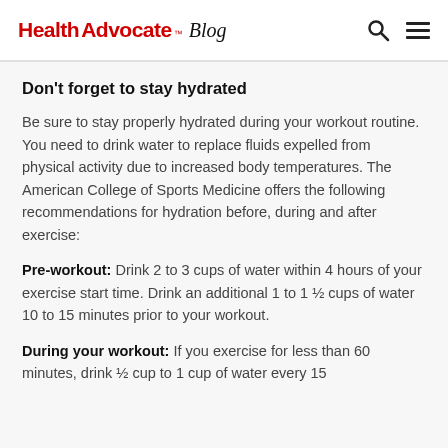HealthAdvocate™ Blog
Don't forget to stay hydrated
Be sure to stay properly hydrated during your workout routine. You need to drink water to replace fluids expelled from physical activity due to increased body temperatures. The American College of Sports Medicine offers the following recommendations for hydration before, during and after exercise:
Pre-workout: Drink 2 to 3 cups of water within 4 hours of your exercise start time. Drink an additional 1 to 1 ½ cups of water 10 to 15 minutes prior to your workout.
During your workout: If you exercise for less than 60 minutes, drink ½ cup to 1 cup of water every 15 to 20 minutes. Exercising for more than 60 minutes…